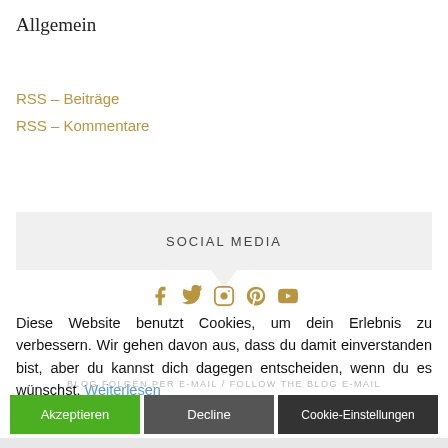Allgemein
RSS – Beiträge
RSS – Kommentare
SOCIAL MEDIA
[Figure (infographic): Social media icons: Facebook, Twitter, Instagram, Pinterest, YouTube in golden/brown color]
Diese Website benutzt Cookies, um dein Erlebnis zu verbessern. Wir gehen davon aus, dass du damit einverstanden bist, aber du kannst dich dagegen entscheiden, wenn du es wünschst. Weiterlesen
BLOG FOLGEN PER E-MAIL / FOLLOW THE BLOG E-MAIL
Akzeptieren | Decline | Cookie-Einstellungen